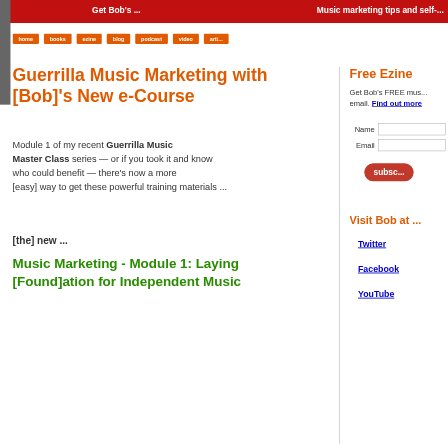Music marketing tips and self-...
home | books | ezine | blog | podcast | video | arti...
Guerrilla Music Marketing with [Bob]'s New e-Course
Module 1 of my recent Guerrilla Music Master Class series — or if you took it and know who could benefit — there's now a more [easy] way to get these powerful training materials ...
[the] new ...
Music Marketing - Module 1: Laying [Found]ation for Independent Music
Free Ezine
Get Bob's FREE mus... email. Find out more
Name
Email
subsc...
Visit Bob at ...
Twitter
Facebook
YouTube